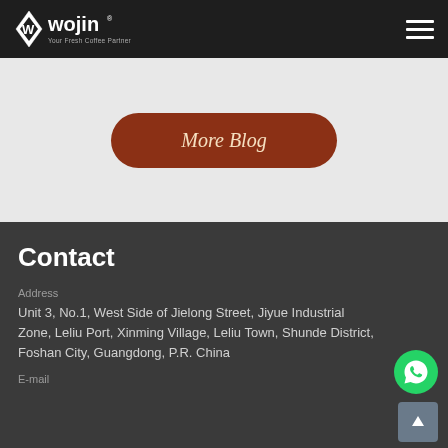wojin - Your Fresh Coffee Partner
More Blog
Contact
Address
Unit 3, No.1, West Side of Jielong Street, Jiyue Industrial Zone, Leliu Port, Xinming Village, Leliu Town, Shunde District, Foshan City, Guangdong, P.R. China
E-mail